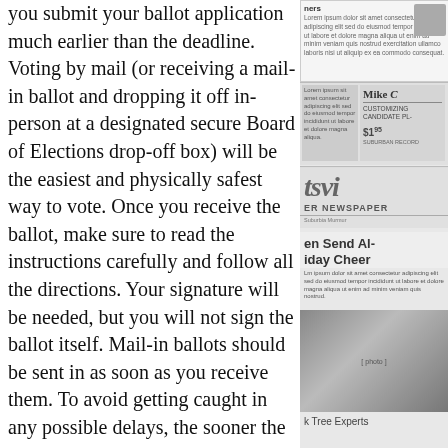you submit your ballot application much earlier than the deadline. Voting by mail (or receiving a mail-in ballot and dropping it off in-person at a designated secure Board of Elections drop-off box) will be the easiest and physically safest way to vote. Once you receive the ballot, make sure to read the instructions carefully and follow all the directions. Your signature will be needed, but you will not sign the ballot itself. Mail-in ballots should be sent in as soon as you receive them. To avoid getting caught in any possible delays, the sooner the ballots are returned the better. Whichever way you choose, the earlier you can return your ballot, the better.
[Figure (photo): Newspaper column snippets and advertisements on the right side of the page, including a masthead reading 'tsvi' and 'ER NEWSPAPER', a headline 'en Send Al- iday Cheer', a photo, and text 'k Tree Experts']